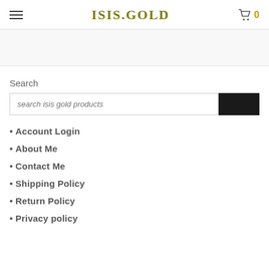ISIS.GOLD
Search
search isis gold products
Account Login
About Me
Contact Me
Shipping Policy
Return Policy
Privacy policy